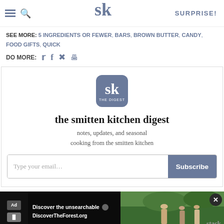SK logo header with hamburger, search, SURPRISE! button
SEE MORE: 5 INGREDIENTS OR FEWER, BARS, BROWN BUTTER, CANDY, FOOD GIFTS, QUICK
DO MORE: [twitter] [facebook] [pinterest] [print]
[Figure (logo): SK The Digest logo — rounded square with SK swan logo and THE DIGEST text below]
the smitten kitchen digest
notes, updates, and seasonal cooking from the smitten kitchen
Type your email... Subscribe
[Figure (screenshot): Advertisement banner: Discover the unsearchable — DiscoverTheForest.org with forest background image and people hiking. Close button visible.]